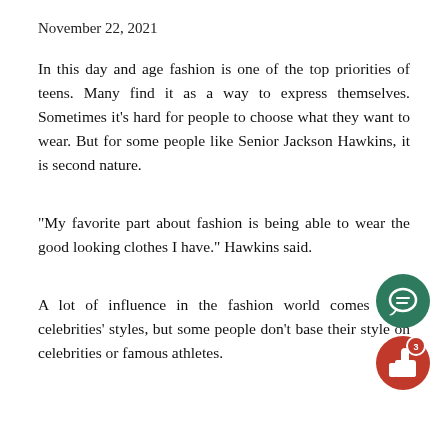November 22, 2021
In this day and age fashion is one of the top priorities of teens. Many find it as a way to express themselves. Sometimes it’s hard for people to choose what they want to wear. But for some people like Senior Jackson Hawkins, it is second nature.
“My favorite part about fashion is being able to wear the good looking clothes I have.” Hawkins said.
[Figure (other): Green circular chat/comment icon button and a red circular thumbs-up icon button with a badge showing the number 3]
A lot of influence in the fashion world comes from celebrities’ styles, but some people don’t base their style on celebrities or famous athletes.